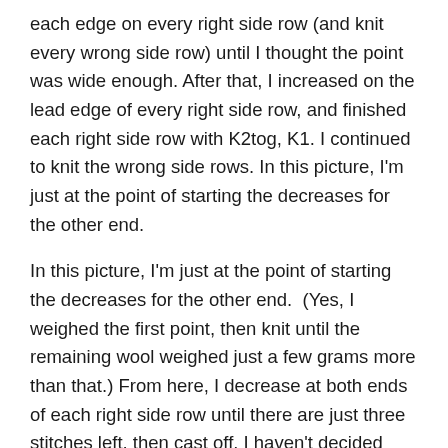each edge on every right side row (and knit every wrong side row) until I thought the point was wide enough. After that, I increased on the lead edge of every right side row, and finished each right side row with K2tog, K1. I continued to knit the wrong side rows. In this picture, I'm just at the point of starting the decreases for the other end.
In this picture, I'm just at the point of starting the decreases for the other end.  (Yes, I weighed the first point, then knit until the remaining wool weighed just a few grams more than that.) From here, I decrease at both ends of each right side row until there are just three stitches left, then cast off. I haven't decided whether to leave it as a short scarf that I can wrap across the front of my throat, or I should join it into a cowl – either by grafting the ends together or adding some loops and buttons.
What do you think?